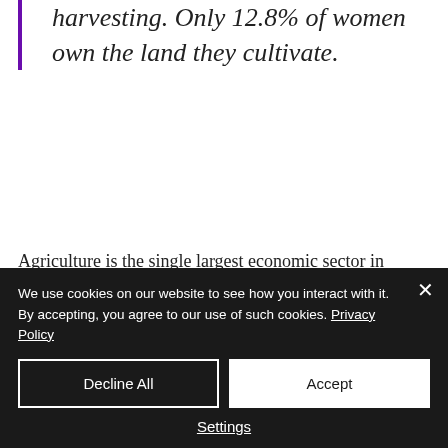harvesting. Only 12.8% of women own the land they cultivate.
Agriculture is the single largest economic sector in India. Yet, the Agricultural GDP is increasingly declining and deep poverty is a major concern in the rural areas. On the other hand, there's a larger crisis looming-
We use cookies on our website to see how you interact with it. By accepting, you agree to our use of such cookies. Privacy Policy
Decline All
Accept
Settings